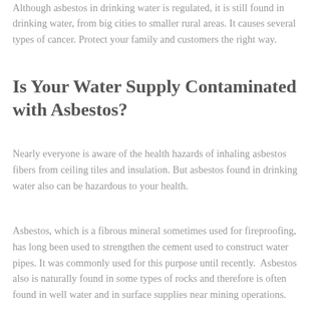Although asbestos in drinking water is regulated, it is still found in drinking water, from big cities to smaller rural areas. It causes several types of cancer. Protect your family and customers the right way.
Is Your Water Supply Contaminated with Asbestos?
Nearly everyone is aware of the health hazards of inhaling asbestos fibers from ceiling tiles and insulation. But asbestos found in drinking water also can be hazardous to your health.
Asbestos, which is a fibrous mineral sometimes used for fireproofing, has long been used to strengthen the cement used to construct water pipes. It was commonly used for this purpose until recently.  Asbestos also is naturally found in some types of rocks and therefore is often found in well water and in surface supplies near mining operations.